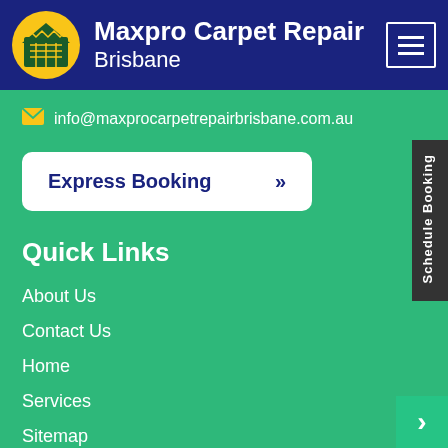[Figure (logo): Maxpro Carpet Repair Brisbane logo with yellow circle containing carpet/house icon and dark blue background header]
Maxpro Carpet Repair Brisbane
info@maxprocarpetrepairbrisbane.com.au
Express Booking »
Quick Links
About Us
Contact Us
Home
Services
Sitemap
Schedule Booking